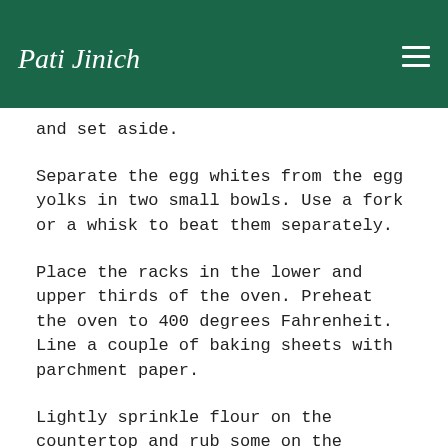Pati Jinich
and set aside.
Separate the egg whites from the egg yolks in two small bowls. Use a fork or a whisk to beat them separately.
Place the racks in the lower and upper thirds of the oven. Preheat the oven to 400 degrees Fahrenheit. Line a couple of baking sheets with parchment paper.
Lightly sprinkle flour on the countertop and rub some on the rolling pin. Roll out the puff pastry to thinner than 1/4-inch and use a 4-to-5-inch round mold to cut circles. Add a generous tablespoon of the sardine filling in the middle of each round. Brush a bit of the beaten egg white around the edges each round. Fold each one into a half